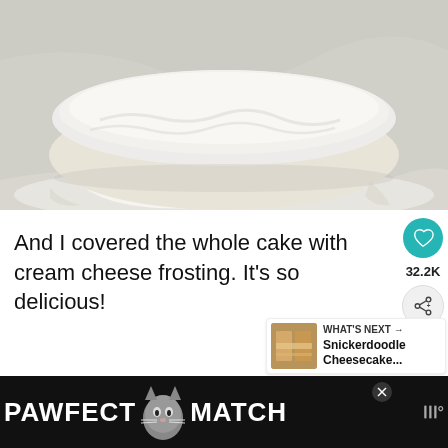[Figure (photo): Top-down photo of a round cake fully covered in cream cheese frosting on a white scalloped plate, with a marble surface background.]
And I covered the whole cake with cream cheese frosting.  It’s so delicious!
[Figure (screenshot): WHAT'S NEXT arrow label with thumbnail of Snickerdoodle Cheesecake and share/heart buttons on the right side.]
[Figure (screenshot): Advertisement banner at the bottom reading PAWFECT MATCH with a cat image in the center, on a dark background.]